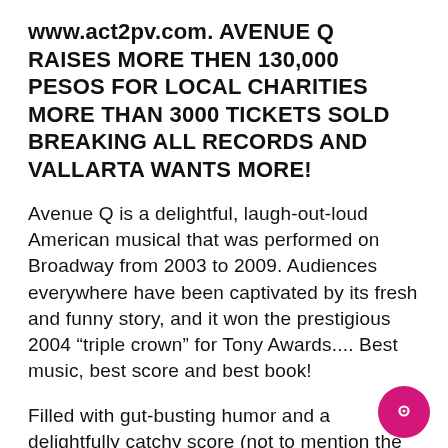www.act2pv.com. AVENUE Q RAISES MORE THEN 130,000 PESOS FOR LOCAL CHARITIES MORE THAN 3000 TICKETS SOLD BREAKING ALL RECORDS AND VALLARTA WANTS MORE!
Avenue Q is a delightful, laugh-out-loud American musical that was performed on Broadway from 2003 to 2009. Audiences everywhere have been captivated by its fresh and funny story, and it won the prestigious 2004 “triple crown” for Tony Awards.... Best music, best score and best book!
Filled with gut-busting humor and a delightfully catchy score (not to mention the use of full-size puppets that are animated by unconcealed human puppeteers), Avenue Q is a truly unique